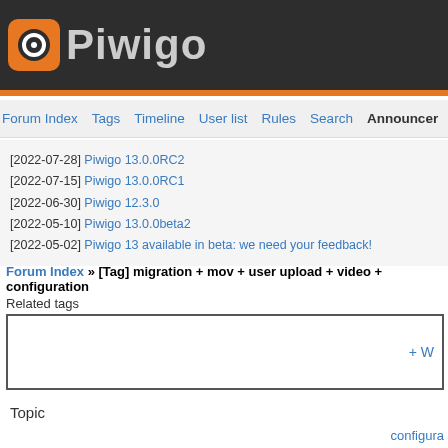Piwigo
Forum Index  Tags  Timeline  User list  Rules  Search  Announcements
[2022-07-28] Piwigo 13.0.0RC2
[2022-07-15] Piwigo 13.0.0RC1
[2022-06-30] Piwigo 12.3.0
[2022-05-10] Piwigo 13.0.0beta2
[2022-05-02] Piwigo 13 available in beta: we need your feedback!
Forum Index » [Tag] migration + mov + user upload + video + configuration
Related tags
+ W
Topic
configura